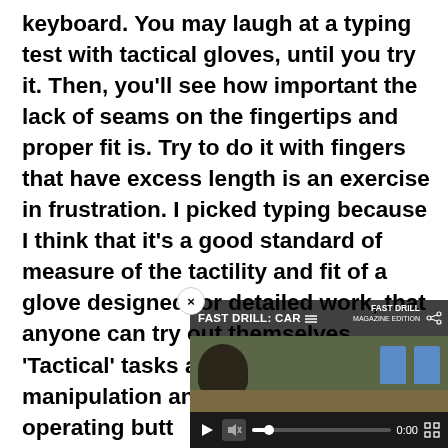keyboard. You may laugh at a typing test with tactical gloves, until you try it. Then, you'll see how important the lack of seams on the fingertips and proper fit is. Try to do it with fingers that have excess length is an exercise in frustration. I picked typing because I think that it's a good standard of measure of the tactility and fit of a glove designed for detailed work, that anyone can try out themselves. 'Tactical' tasks are not limited to manipulation and sho include operating butt radio/commo equip...
[Figure (screenshot): Embedded video player overlay showing 'FAST DRILL: CAR...' with play controls, mute icon, progress bar showing 0:00, fullscreen button, and two blue target silhouette icons visible in the video scene. A close (x) button is in the top-left corner of the overlay.]